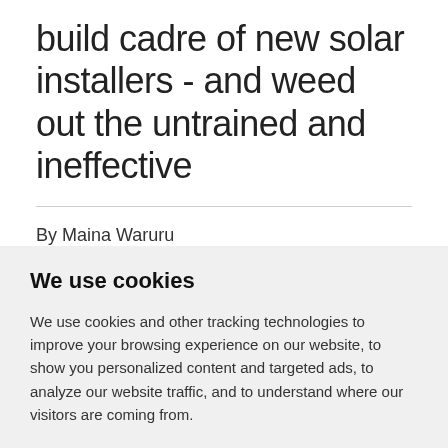build cadre of new solar installers - and weed out the untrained and ineffective
By Maina Waruru
We use cookies
We use cookies and other tracking technologies to improve your browsing experience on our website, to show you personalized content and targeted ads, to analyze our website traffic, and to understand where our visitors are coming from.